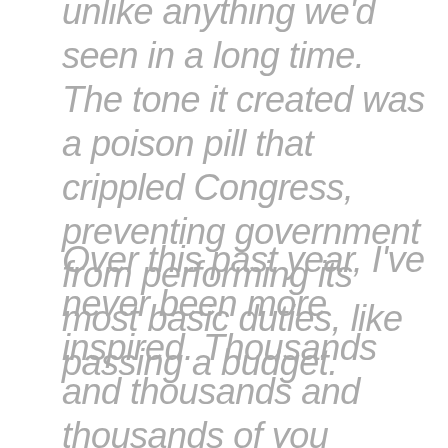unlike anything we'd seen in a long time. The tone it created was a poison pill that crippled Congress, preventing government from performing its most basic duties, like passing a budget.
Over this past year, I've never been more inspired. Thousands and thousands and thousands of you stepped up to the plate and sacrificed – your time, your money, your energy – to make our country